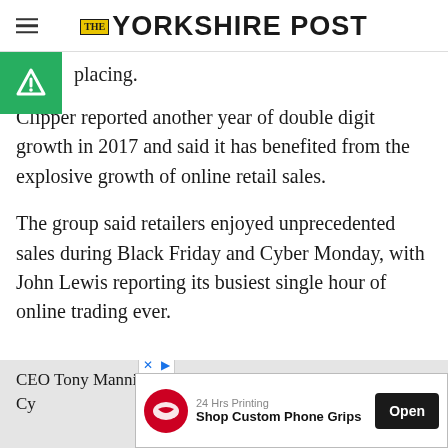The Yorkshire Post
placing.
Clipper reported another year of double digit growth in 2017 and said it has benefited from the explosive growth of online retail sales.
The group said retailers enjoyed unprecedented sales during Black Friday and Cyber Monday, with John Lewis reporting its busiest single hour of online trading ever.
CEO Tony Mannix said: "Black Friday and Cyber Monday...rs
[Figure (screenshot): Advertisement banner: 24 Hrs Printing - Shop Custom Phone Grips - Open button]